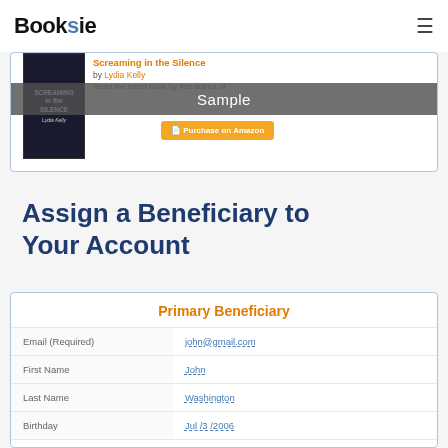Booksie
[Figure (screenshot): Book listing card for 'Screaming in the Silence' by Lydia Kelly with a grey Sample banner overlay and a Purchase on Amazon button]
Assign a Beneficiary to Your Account
Primary Beneficiary
| Field | Value |
| --- | --- |
| Email (Required) | john@gmail.com |
| First Name | John |
| Last Name | Washington |
| Birthday | Jul /3 /2006 |